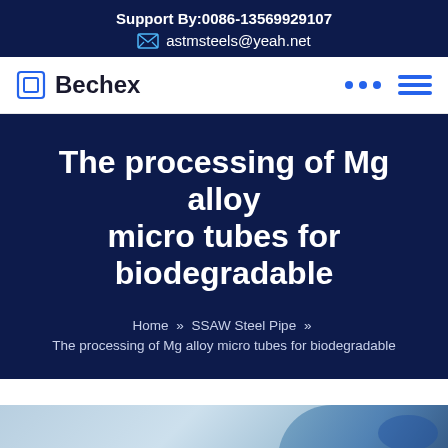Support By:0086-13569929107
astmsteels@yeah.net
Bechex
The processing of Mg alloy micro tubes for biodegradable
Home » SSAW Steel Pipe » The processing of Mg alloy micro tubes for biodegradable
[Figure (photo): Bottom image strip showing a scientific/engineering photo with blue gloves and tubes visible]